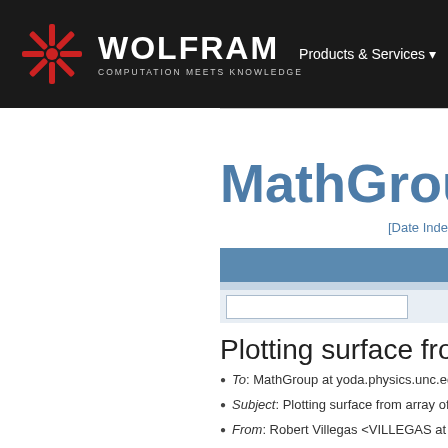WOLFRAM COMPUTATION MEETS KNOWLEDGE | Products & Services
[Figure (logo): Wolfram logo with red snowflake/asterisk symbol and text WOLFRAM COMPUTATION MEETS KNOWLEDGE on dark background]
MathGroupArchive
[Date Index
Plotting surface from
To: MathGroup at yoda.physics.unc.edu
Subject: Plotting surface from array of poin
From: Robert Villegas <VILLEGAS at knox